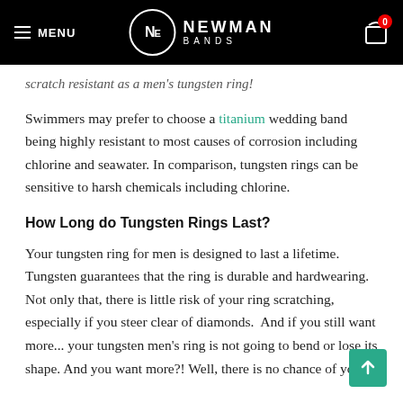MENU | NEWMAN BANDS | 0
scratch resistant as a men's tungsten ring!
Swimmers may prefer to choose a titanium wedding band being highly resistant to most causes of corrosion including chlorine and seawater. In comparison, tungsten rings can be sensitive to harsh chemicals including chlorine.
How Long do Tungsten Rings Last?
Your tungsten ring for men is designed to last a lifetime. Tungsten guarantees that the ring is durable and hardwearing. Not only that, there is little risk of your ring scratching, especially if you steer clear of diamonds.  And if you still want more... your tungsten men's ring is not going to bend or lose its shape. And you want more?! Well, there is no chance of your